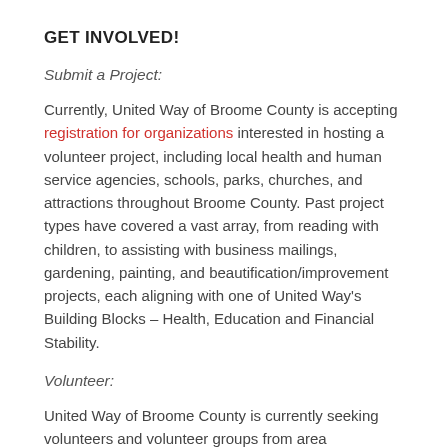GET INVOLVED!
Submit a Project:
Currently, United Way of Broome County is accepting registration for organizations interested in hosting a volunteer project, including local health and human service agencies, schools, parks, churches, and attractions throughout Broome County. Past project types have covered a vast array, from reading with children, to assisting with business mailings, gardening, painting, and beautification/improvement projects, each aligning with one of United Way's Building Blocks – Health, Education and Financial Stability.
Volunteer:
United Way of Broome County is currently seeking volunteers and volunteer groups from area businesses looking to share their time and talents to